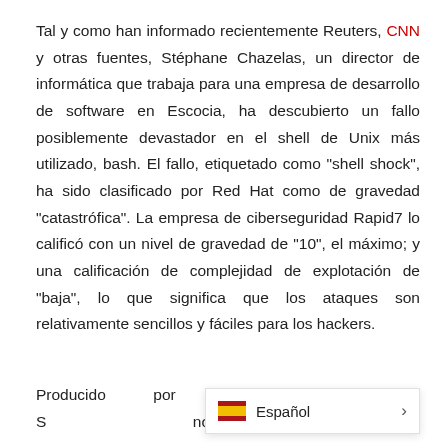Tal y como han informado recientemente Reuters, CNN y otras fuentes, Stéphane Chazelas, un director de informática que trabaja para una empresa de desarrollo de software en Escocia, ha descubierto un fallo posiblemente devastador en el shell de Unix más utilizado, bash. El fallo, etiquetado como "shell shock", ha sido clasificado por Red Hat como de gravedad "catastrófica". La empresa de ciberseguridad Rapid7 lo calificó con un nivel de gravedad de "10", el máximo; y una calificación de complejidad de explotación de "baja", lo que significa que los ataques son relativamente sencillos y fáciles para los hackers.
Producido por la Fundación de S... no